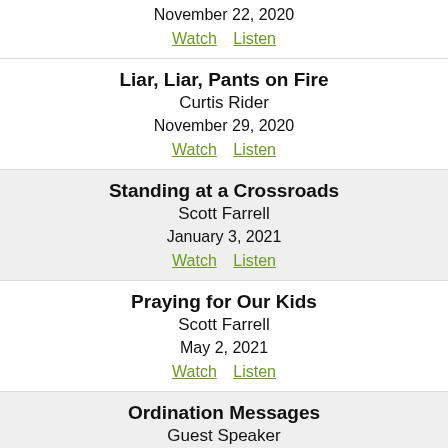November 22, 2020 | Watch | Listen
Liar, Liar, Pants on Fire | Curtis Rider | November 29, 2020 | Watch | Listen
Standing at a Crossroads | Scott Farrell | January 3, 2021 | Watch | Listen
Praying for Our Kids | Scott Farrell | May 2, 2021 | Watch | Listen
Ordination Messages | Guest Speaker | September 26, 2021 | Watch | Listen